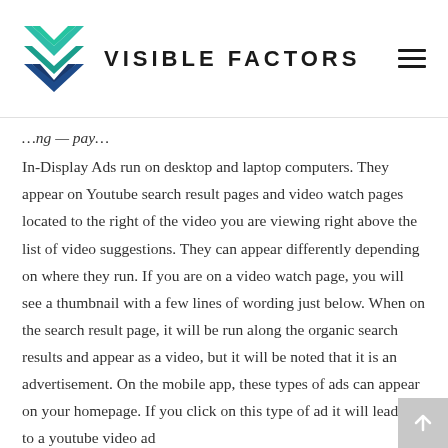VISIBLE FACTORS
In-Display Ads run on desktop and laptop computers. They appear on Youtube search result pages and video watch pages located to the right of the video you are viewing right above the list of video suggestions. They can appear differently depending on where they run. If you are on a video watch page, you will see a thumbnail with a few lines of wording just below. When on the search result page, it will be run along the organic search results and appear as a video, but it will be noted that it is an advertisement. On the mobile app, these types of ads can appear on your homepage. If you click on this type of ad it will lead you to a youtube video ad